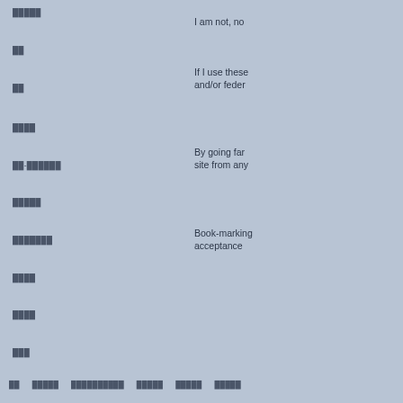█████
██
██
████
██-██████
█████
███████
████
████
███
I am not, no
If I use these and/or feder
By going far site from any
Book-marking acceptance
██  █████  ██████████  █████  █████  █████